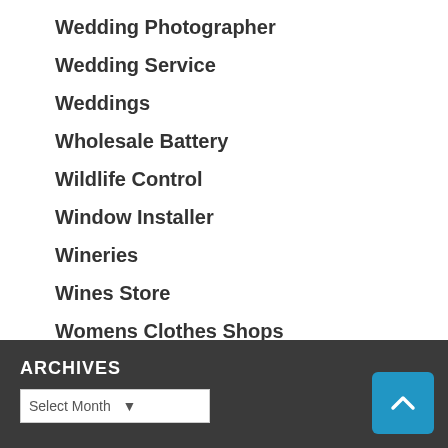Wedding Photographer
Wedding Service
Weddings
Wholesale Battery
Wildlife Control
Window Installer
Wineries
Wines Store
Womens Clothes Shops
Youth Training
ARCHIVES
Select Month